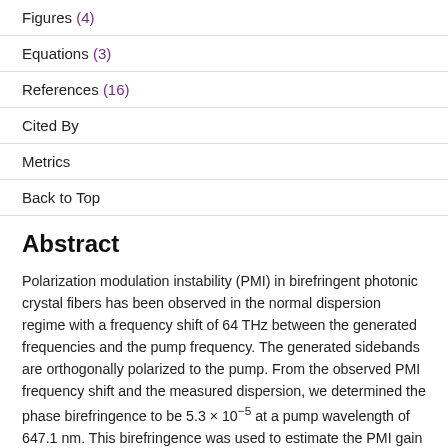Figures (4)
Equations (3)
References (16)
Cited By
Metrics
Back to Top
Abstract
Polarization modulation instability (PMI) in birefringent photonic crystal fibers has been observed in the normal dispersion regime with a frequency shift of 64 THz between the generated frequencies and the pump frequency. The generated sidebands are orthogonally polarized to the pump. From the observed PMI frequency shift and the measured dispersion, we determined the phase birefringence to be 5.3 × 10⁻⁵ at a pump wavelength of 647.1 nm. This birefringence was used to estimate the PMI gain as a function of pump